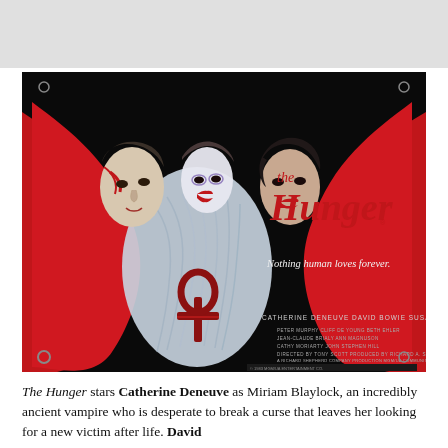[Figure (photo): Movie poster for 'The Hunger' (1983). Dark background with illustrated figures of three faces — a pale male figure on the left, a ghostly female wrapped in white/silver feathers in the center with an ankh symbol, and a dark-haired female on the right — all enveloped in sweeping red wings/cloak. Upper right shows the film title 'the Hunger' in red script. Below the title: 'Nothing human loves forever.' Bottom right credits: 'CATHERINE DENEUVE DAVID BOWIE SUSAN SARANDON' and additional smaller production credits.]
The Hunger stars Catherine Deneuve as Miriam Blaylock, an incredibly ancient vampire who is desperate to break a curse that leaves her looking for a new victim after life. David